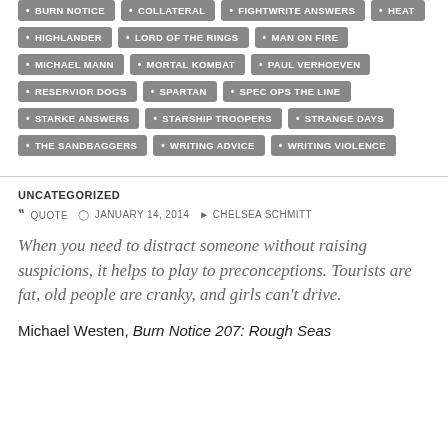BURN NOTICE
COLLATERAL
FIGHTWRITE ANSWERS
HEAT
HIGHLANDER
LORD OF THE RINGS
MAN ON FIRE
MICHAEL MANN
MORTAL KOMBAT
PAUL VERHOEVEN
RESERVIOR DOGS
SPARTAN
SPEC OPS THE LINE
STARKE ANSWERS
STARSHIP TROOPERS
STRANGE DAYS
THE SANDBAGGERS
WRITING ADVICE
WRITING VIOLENCE
UNCATEGORIZED
QUOTE  JANUARY 14, 2014  CHELSEA SCHMITT
When you need to distract someone without raising suspicions, it helps to play to preconceptions. Tourists are fat, old people are cranky, and girls can't drive.
Michael Westen, Burn Notice 207: Rough Seas